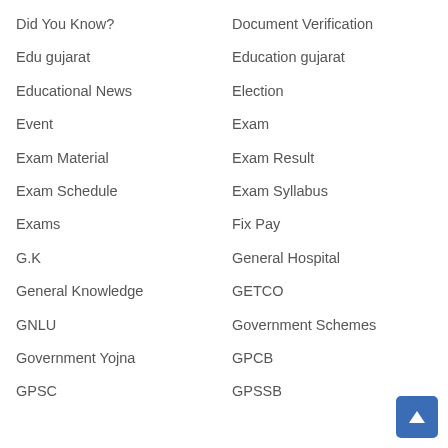Did You Know?
Document Verification
Edu gujarat
Education gujarat
Educational News
Election
Event
Exam
Exam Material
Exam Result
Exam Schedule
Exam Syllabus
Exams
Fix Pay
G.K
General Hospital
General Knowledge
GETCO
GNLU
Government Schemes
Government Yojna
GPCB
GPSC
GPSSB